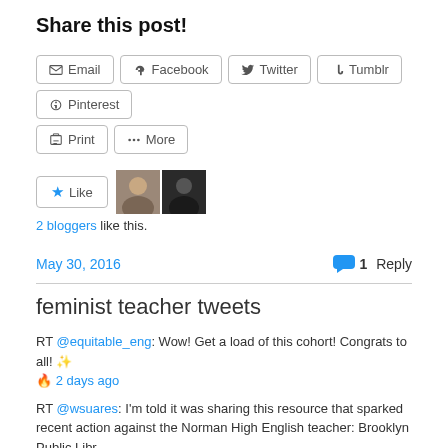Share this post!
[Figure (other): Share buttons row: Email, Facebook, Twitter, Tumblr, Pinterest]
[Figure (other): Second buttons row: Print, More]
[Figure (other): Like button with two blogger avatars]
2 bloggers like this.
May 30, 2016    💬 1 Reply
feminist teacher tweets
RT @equitable_eng: Wow! Get a load of this cohort! Congrats to all! ✨ 🔥 2 days ago
RT @wsuares: I'm told it was sharing this resource that sparked recent action against the Norman High English teacher: Brooklyn Public Libr…